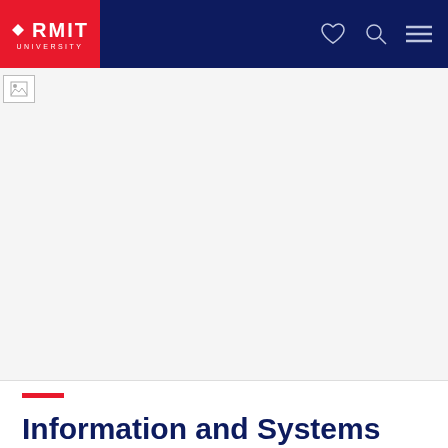RMIT UNIVERSITY
[Figure (photo): Hero image area with broken/loading image placeholder in top-left corner]
Information and Systems (engineering)